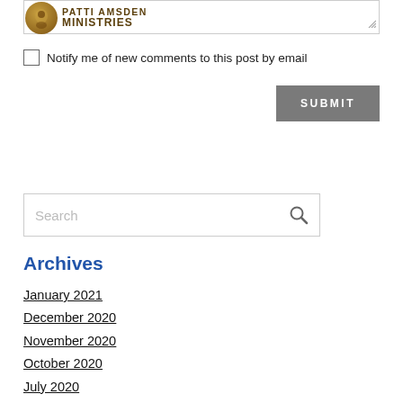[Figure (logo): Patti Amsden Ministries logo with circular emblem and text]
Notify me of new comments to this post by email
SUBMIT
Search
Archives
January 2021
December 2020
November 2020
October 2020
July 2020
June 2020